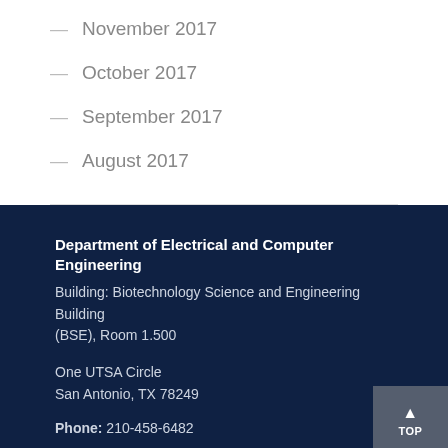– November 2017
– October 2017
– September 2017
– August 2017
Department of Electrical and Computer Engineering
Building: Biotechnology Science and Engineering Building (BSE), Room 1.500

One UTSA Circle
San Antonio, TX 78249

Phone: 210-458-6482